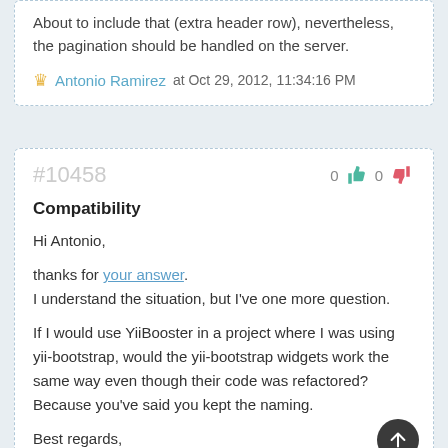About to include that (extra header row), nevertheless, the pagination should be handled on the server.
Antonio Ramirez at Oct 29, 2012, 11:34:16 PM
#10458
Compatibility
Hi Antonio,

thanks for your answer.
I understand the situation, but I've one more question.

If I would use YiiBooster in a project where I was using yii-bootstrap, would the yii-bootstrap widgets work the same way even though their code was refactored? Because you've said you kept the naming.

Best regards,